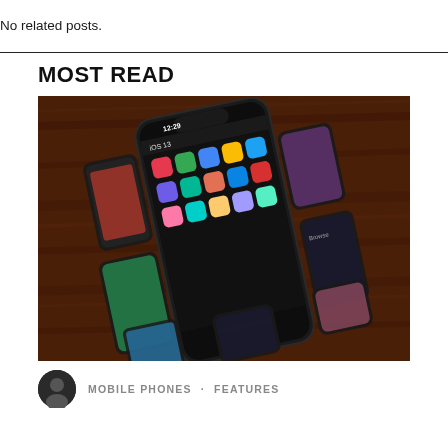No related posts.
MOST READ
[Figure (photo): A smartphone displaying iOS 13 interface on a wooden surface, showing multiple app icons and screen previews.]
MOBILE PHONES · FEATURES